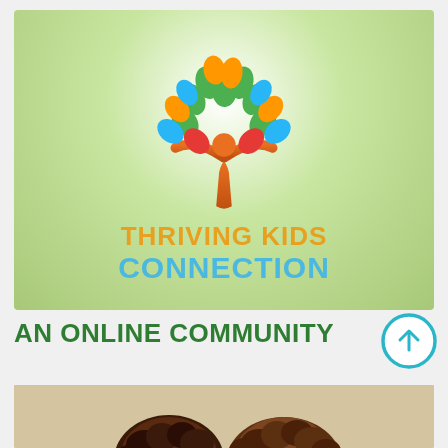[Figure (logo): Thriving Kids Connection logo: colorful tree made of multi-colored leaves (blue, orange, green, red) with an orange person figure at the center/trunk, on a green gradient background. Text below reads THRIVING KIDS CONNECTION.]
AN ONLINE COMMUNITY
[Figure (illustration): Circular arrow/upload icon with teal border]
[Figure (photo): Partial photo showing tops of two children's heads with curly hair]